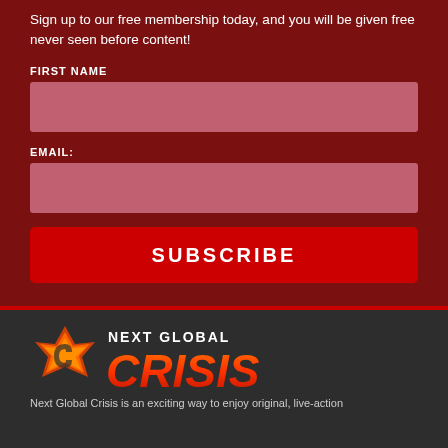Sign up to our free membership today, and you will be given free never seen before content!
FIRST NAME
EMAIL:
SUBSCRIBE
[Figure (logo): Next Global Crisis logo with orange star/shield icon and stylized text]
Next Global Crisis is an exciting way to enjoy original, live-action